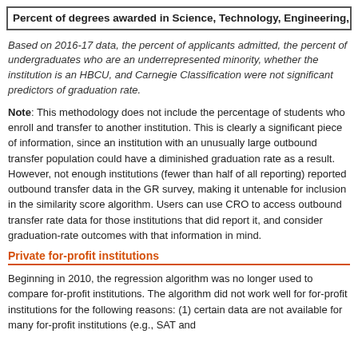Percent of degrees awarded in Science, Technology, Engineering, and
Based on 2016-17 data, the percent of applicants admitted, the percent of undergraduates who are an underrepresented minority, whether the institution is an HBCU, and Carnegie Classification were not significant predictors of graduation rate.
Note: This methodology does not include the percentage of students who enroll and transfer to another institution. This is clearly a significant piece of information, since an institution with an unusually large outbound transfer population could have a diminished graduation rate as a result. However, not enough institutions (fewer than half of all reporting) reported outbound transfer data in the GR survey, making it untenable for inclusion in the similarity score algorithm. Users can use CRO to access outbound transfer rate data for those institutions that did report it, and consider graduation-rate outcomes with that information in mind.
Private for-profit institutions
Beginning in 2010, the regression algorithm was no longer used to compare for-profit institutions. The algorithm did not work well for for-profit institutions for the following reasons: (1) certain data are not available for many for-profit institutions (e.g., SAT and